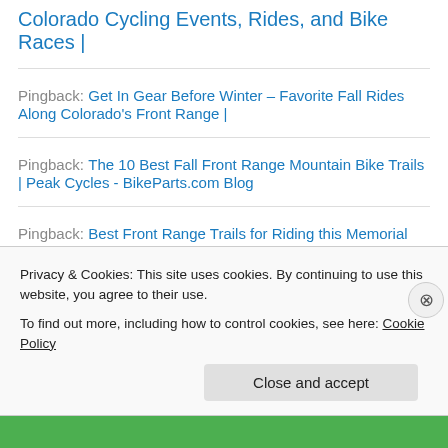Colorado Cycling Events, Rides, and Bike Races |
Pingback: Get In Gear Before Winter – Favorite Fall Rides Along Colorado's Front Range |
Pingback: The 10 Best Fall Front Range Mountain Bike Trails  | Peak Cycles - BikeParts.com Blog
Pingback: Best Front Range Trails for Riding this Memorial Day Weekend  | Peak Cycles - BikeParts.com
Privacy & Cookies: This site uses cookies. By continuing to use this website, you agree to their use. To find out more, including how to control cookies, see here: Cookie Policy